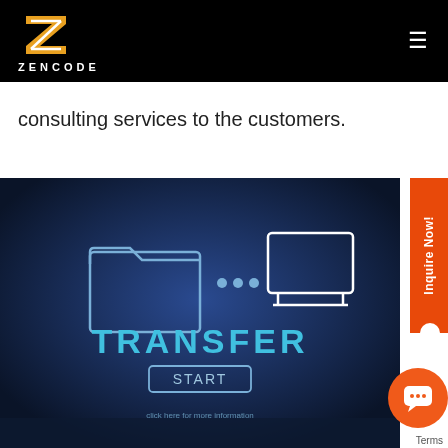ZENCODE
consulting services to the customers.
[Figure (photo): A tablet/laptop screen displaying a data transfer concept graphic with a folder icon, a monitor icon, three dots between them, and the text 'TRANSFER' and 'START' on a dark blue background. Hands are visible holding the device.]
Inquire Now!
Terms